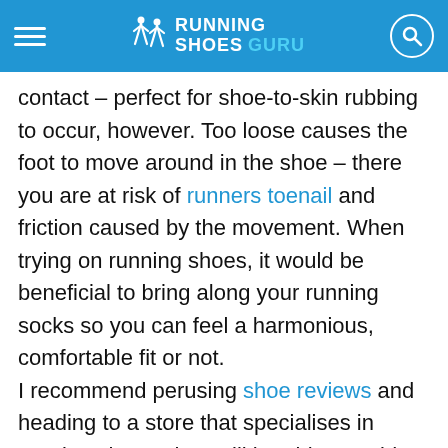Running Shoes Guru
contact – perfect for shoe-to-skin rubbing to occur, however. Too loose causes the foot to move around in the shoe – there you are at risk of runners toenail and friction caused by the movement. When trying on running shoes, it would be beneficial to bring along your running socks so you can feel a harmonious, comfortable fit or not. I recommend perusing shoe reviews and heading to a store that specialises in running shoes; they will be able to guide you towards the perfect fit for your high arch, heel-spurs or shoes for running off-road.